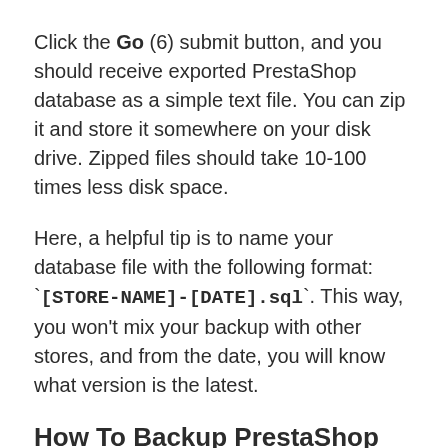Click the Go (6) submit button, and you should receive exported PrestaShop database as a simple text file. You can zip it and store it somewhere on your disk drive. Zipped files should take 10-100 times less disk space.
Here, a helpful tip is to name your database file with the following format: `[STORE-NAME]-[DATE].sql`. This way, you won't mix your backup with other stores, and from the date, you will know what version is the latest.
How To Backup PrestaShop